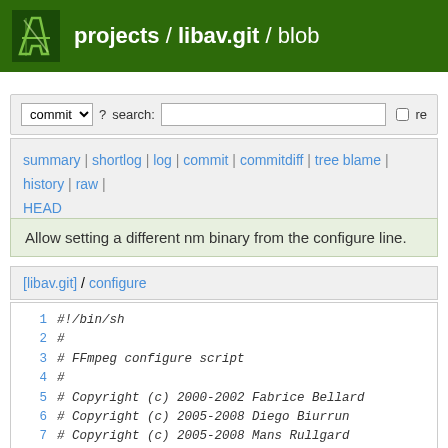projects / libav.git / blob
commit ? search: re
summary | shortlog | log | commit | commitdiff | tree blame | history | raw | HEAD
Allow setting a different nm binary from the configure line.
[libav.git] / configure
1  #!/bin/sh
2  #
3  # FFmpeg configure script
4  #
5  # Copyright (c) 2000-2002 Fabrice Bellard
6  # Copyright (c) 2005-2008 Diego Biurrun
7  # Copyright (c) 2005-2008 Mans Rullgard
8  #
9
10 # ...